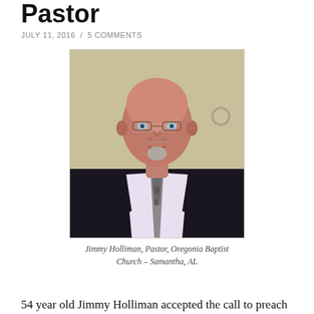Pastor
JULY 11, 2016  /  5 COMMENTS
[Figure (photo): Portrait photo of Jimmy Holliman, a middle-aged bald man with glasses and a grey goatee, wearing a dark suit jacket with a light purple shirt and patterned tie, standing against a light green/beige wall.]
Jimmy Holliman, Pastor, Oregonia Baptist Church – Samantha, AL
54 year old Jimmy Holliman accepted the call to preach